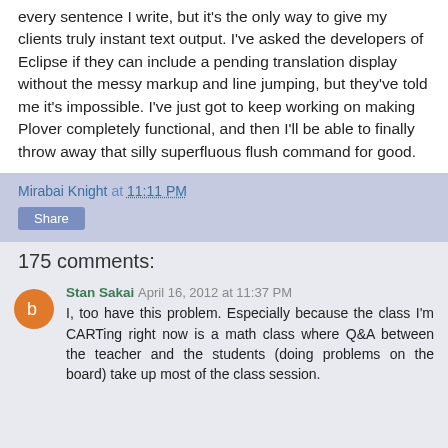every sentence I write, but it's the only way to give my clients truly instant text output. I've asked the developers of Eclipse if they can include a pending translation display without the messy markup and line jumping, but they've told me it's impossible. I've just got to keep working on making Plover completely functional, and then I'll be able to finally throw away that silly superfluous flush command for good.
Mirabai Knight at 11:11 PM
Share
175 comments:
Stan Sakai  April 16, 2012 at 11:37 PM
I, too have this problem. Especially because the class I'm CARTing right now is a math class where Q&A between the teacher and the students (doing problems on the board) take up most of the class session.